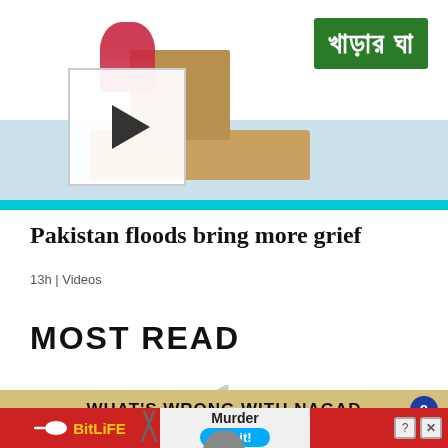[Figure (photo): Video thumbnail showing Pakistan flood scene with people on makeshift raft, green Bengali sign reading খাড়ার ঘা, play button overlay, cyan border bar at bottom]
Pakistan floods bring more grief
13h | Videos
MOST READ
1
[Figure (infographic): Advertisement banner: WHAT'S WRONG WITH NAGAD with blue circle close button]
[Figure (infographic): BitLife game advertisement banner with sperm logo, yellow text, murder/Do it call to action, scissors graphic, help and close icons]